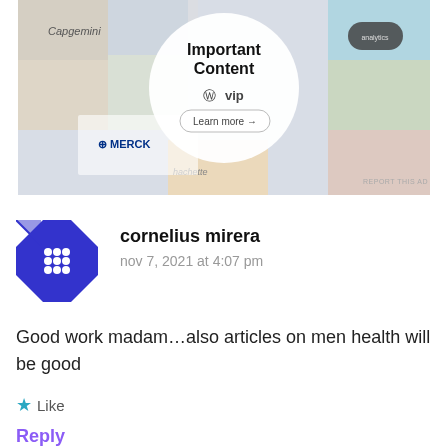[Figure (illustration): Advertisement banner showing WordPress VIP 'Important Content' promotional graphic with logos including Merck, Capgemini, Hachette, and others arranged in a collage]
REPORT THIS AD
cornelius mirera
nov 7, 2021 at 4:07 pm
Good work madam…also articles on men health will be good
★ Like
Reply